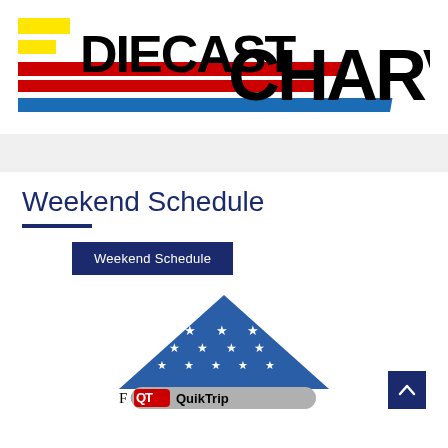[Figure (logo): Diecast CHARV logo with yellow and red diagonal stripe elements and blue horizontal bar]
Weekend Schedule
Weekend Schedule
[Figure (logo): Folds of Honor QuikTrip logo with blue triangular folded flag with stars and QuikTrip branding]